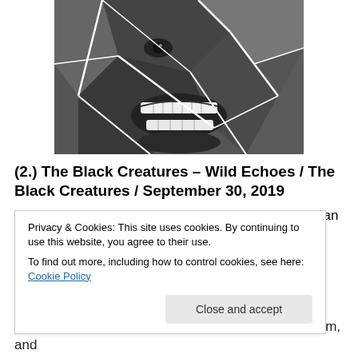[Figure (illustration): Black and white fragmented/shattered image of a person's face with a wide open mouth showing teeth, broken into angular shards with white lines across it — appears to be album artwork.]
(2.) The Black Creatures – Wild Echoes / The Black Creatures / September 30, 2019
[Darkpop hip-hop pulling elements from sci-fi to tell an
Privacy & Cookies: This site uses cookies. By continuing to use this website, you agree to their use.
To find out more, including how to control cookies, see here: Cookie Policy
Close and accept
surrounding areas. They've released an EP, an album, and